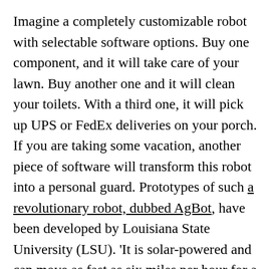Imagine a completely customizable robot with selectable software options. Buy one component, and it will take care of your lawn. Buy another one and it will clean your toilets. With a third one, it will pick up UPS or FedEx deliveries on your porch. If you are taking some vacation, another piece of software will transform this robot into a personal guard. Prototypes of such a revolutionary robot, dubbed AgBot, have been developed by Louisiana State University (LSU). 'It is solar-powered and can move as fast as six miles per hour for a minimum time span of four hours. With artificial intelligence, Bluetooth, and advanced GPS systems, the AgBot is a problem-solving robot.' According to the LSU